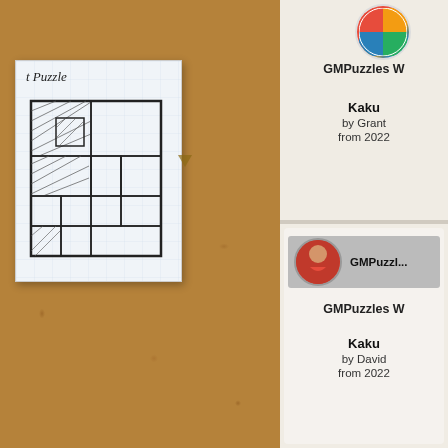[Figure (photo): Cork board background with a hand-drawn puzzle sketch on grid paper pinned to it. The note paper shows 't Puzzle' written at top and a hand-drawn kakuro/grid puzzle outline below.]
[Figure (screenshot): Right panel showing two GMPuzzles website cards. Top card shows a colorful logo avatar, 'GMPuzzles W...' title, and 'Kaku... by Grant... from 2022...'. Bottom card shows a man in red shirt avatar with 'GMPuzzl...' label, 'GMPuzzles W...' title, and 'Kaku... by David... from 2022...']
GMPuzzles W
Kaku
by Grant
from 2022
GMPuzzles W
Kaku
by David
from 2022